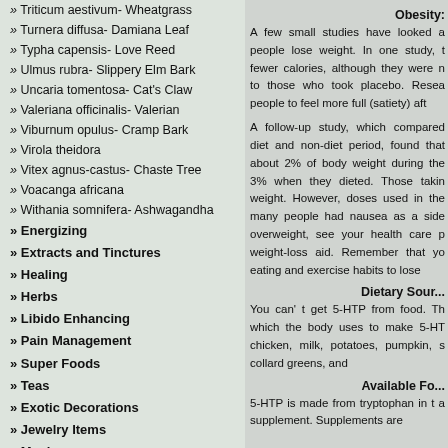» Triticum aestivum- Wheatgrass
» Turnera diffusa- Damiana Leaf
» Typha capensis- Love Reed
» Ulmus rubra- Slippery Elm Bark
» Uncaria tomentosa- Cat's Claw
» Valeriana officinalis- Valerian
» Viburnum opulus- Cramp Bark
» Virola theidora
» Vitex agnus-castus- Chaste Tree
» Voacanga africana
» Withania somnifera- Ashwagandha
» Energizing
» Extracts and Tinctures
» Healing
» Herbs
» Libido Enhancing
» Pain Management
» Super Foods
» Teas
» Exotic Decorations
» Jewelry Items
» Movies
» Music
» Musical Instruments
» Novelty Items
Obesity:
A few small studies have looked at whether 5-HTP can help people lose weight. In one study, those taking 5-HTP ate fewer calories, although they were not trying to diet, compared to those who took placebo. Researchers think 5-HTP may cause people to feel more full (satiety) after eating.
A follow-up study, which compared 5-HTP during a diet and non-diet period, found that people lost about 2% of body weight during the non-diet period and 3% when they dieted. Those taking placebo didn't lose weight. However, doses used in these studies were high, and many people had nausea as a side effect. If you are overweight, see your health care provider before using it as a weight-loss aid. Remember that you need to change your eating and exercise habits to lose weight and keep it off.
Dietary Sources:
You can't get 5-HTP from food. Tryptophan, which the body uses to make 5-HTP, is found in turkey, chicken, milk, potatoes, pumpkin, sunflower seeds, collard greens, and other foods.
Available Forms:
5-HTP is made from tryptophan in the body or taken as a supplement. Supplements are made from the seeds of